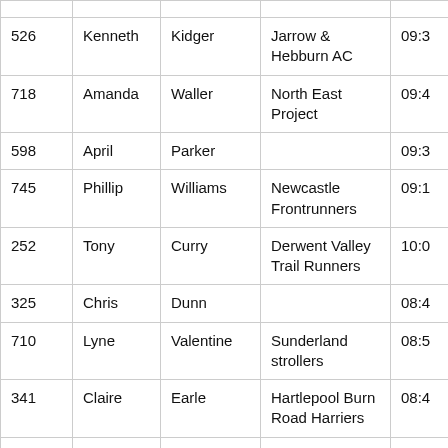| 526 | Kenneth | Kidger | Jarrow & Hebburn AC | 09:3 |
| 718 | Amanda | Waller | North East Project | 09:4 |
| 598 | April | Parker |  | 09:3 |
| 745 | Phillip | Williams | Newcastle Frontrunners | 09:1 |
| 252 | Tony | Curry | Derwent Valley Trail Runners | 10:0 |
| 325 | Chris | Dunn |  | 08:4 |
| 710 | Lyne | Valentine | Sunderland strollers | 08:5 |
| 341 | Claire | Earle | Hartlepool Burn Road Harriers | 08:4 |
| 681 | Rebecca | Swindells | Washington | 09:0 |